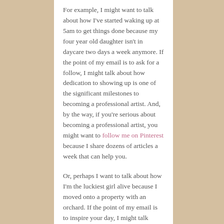For example, I might want to talk about how I've started waking up at 5am to get things done because my four year old daughter isn't in daycare two days a week anymore. If the point of my email is to ask for a follow, I might talk about how dedication to showing up is one of the significant milestones to becoming a professional artist. And, by the way, if you're serious about becoming a professional artist, you might want to follow me on Pinterest because I share dozens of articles a week that can help you.
Or, perhaps I want to talk about how I'm the luckiest girl alive because I moved onto a property with an orchard. If the point of my email is to inspire your day, I might talk about how it...